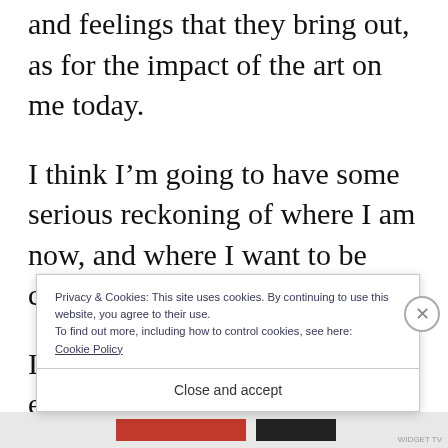and feelings that they bring out, as for the impact of the art on me today.
I think I'm going to have some serious reckoning of where I am now, and where I want to be creatively, going forward.
I don't have to keep experimenting, but I don't have to give it up, lol!
Privacy & Cookies: This site uses cookies. By continuing to use this website, you agree to their use.
To find out more, including how to control cookies, see here: Cookie Policy
Close and accept